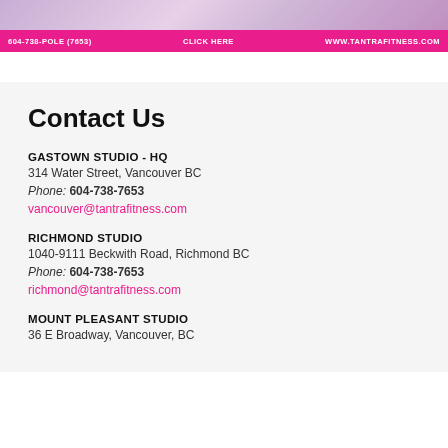[Figure (photo): Banner image of a woman in pink/purple fitness attire posing, with a pink bar at the bottom showing contact info: 604-738-POLE (7653), CLICK HERE, WWW.TANTRAFITNESS.COM]
Contact Us
GASTOWN STUDIO - HQ
314 Water Street, Vancouver BC
Phone: 604-738-7653
vancouver@tantrafitness.com
RICHMOND STUDIO
1040-9111 Beckwith Road, Richmond BC
Phone: 604-738-7653
richmond@tantrafitness.com
MOUNT PLEASANT STUDIO
36 E Broadway, Vancouver, BC